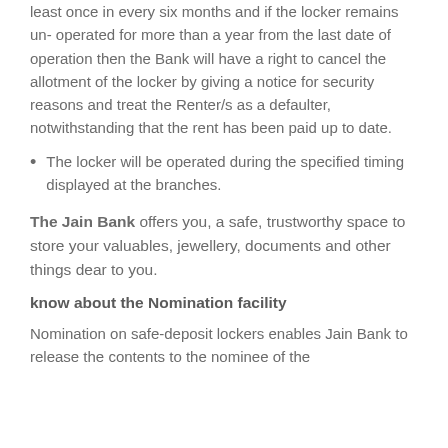least once in every six months and if the locker remains un- operated for more than a year from the last date of operation then the Bank will have a right to cancel the allotment of the locker by giving a notice for security reasons and treat the Renter/s as a defaulter, notwithstanding that the rent has been paid up to date.
The locker will be operated during the specified timing displayed at the branches.
The Jain Bank offers you, a safe, trustworthy space to store your valuables, jewellery, documents and other things dear to you.
know about the Nomination facility
Nomination on safe-deposit lockers enables Jain Bank to release the contents to the nominee of the